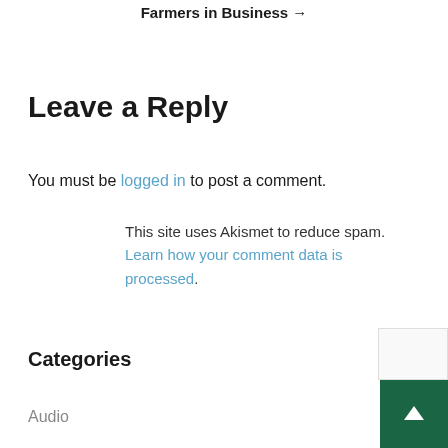Farmers in Business →
Leave a Reply
You must be logged in to post a comment.
This site uses Akismet to reduce spam. Learn how your comment data is processed.
Categories
Audio